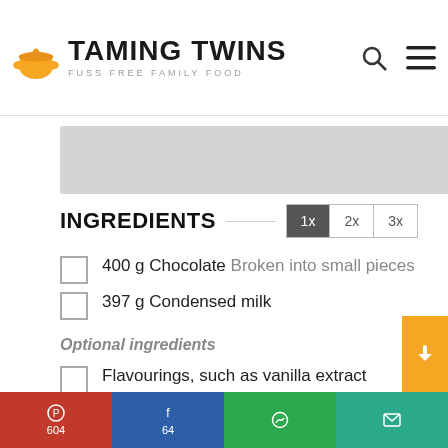TAMING TWINS – FUSS FREE FAMILY FOOD
[Figure (other): Gray image placeholder banner]
INGREDIENTS
400 g Chocolate Broken into small pieces
397 g Condensed milk
Optional ingredients
Flavourings, such as vanilla extract
Sprinkles
Pinterest 604 | Facebook 64 | WhatsApp | Email